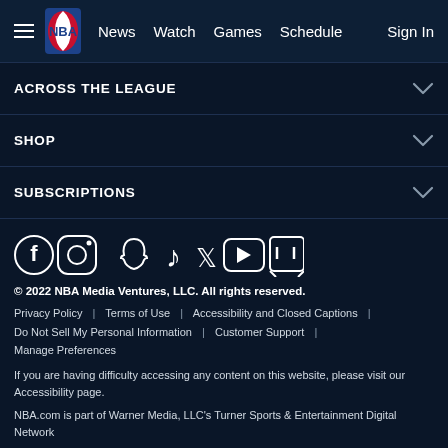NBA — News | Watch | Games | Schedule | Sign In
ACROSS THE LEAGUE
SHOP
SUBSCRIPTIONS
[Figure (illustration): Social media icons: Facebook, Instagram, Snapchat, TikTok, Twitter, YouTube, Twitch]
© 2022 NBA Media Ventures, LLC. All rights reserved.
Privacy Policy | Terms of Use | Accessibility and Closed Captions | Do Not Sell My Personal Information | Customer Support | Manage Preferences
If you are having difficulty accessing any content on this website, please visit our Accessibility page.
NBA.com is part of Warner Media, LLC's Turner Sports & Entertainment Digital Network
WarnerMedia